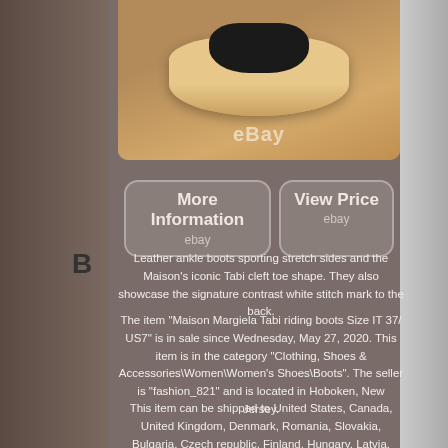[Figure (photo): Bottom sole of black leather Maison Margiela Tabi boots on a wooden surface, eBay watermark visible]
[Figure (other): More Information button linking to eBay listing]
[Figure (other): View Price button linking to eBay listing]
Leather ankle boots sporting stretch sides and the Maison's iconic Tabi cleft toe shape. They also showcase the signature contrast white stitch mark to the back.
The item "Maison Margiela Tabi riding boots Size IT 37/ US7" is in sale since Wednesday, May 27, 2020. This item is in the category "Clothing, Shoes & Accessories\Women\Women's Shoes\Boots". The seller is "fashion_821" and is located in Hoboken, New Jersey.
This item can be shipped to United States, Canada, United Kingdom, Denmark, Romania, Slovakia, Bulgaria, Czech republic, Finland, Hungary, Latvia, Lithuania, Malta, Estonia, Australia, Greece, Portugal, Cyprus, Slovenia, Japan, China,